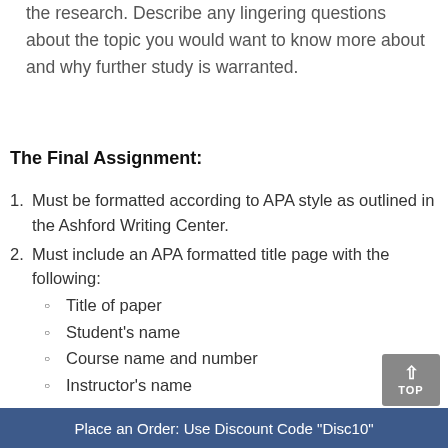the research. Describe any lingering questions about the topic you would want to know more about and why further study is warranted.
The Final Assignment:
Must be formatted according to APA style as outlined in the Ashford Writing Center.
Must include an APA formatted title page with the following:
Title of paper
Student's name
Course name and number
Instructor's name
Place an Order: Use Discount Code "Disc10"